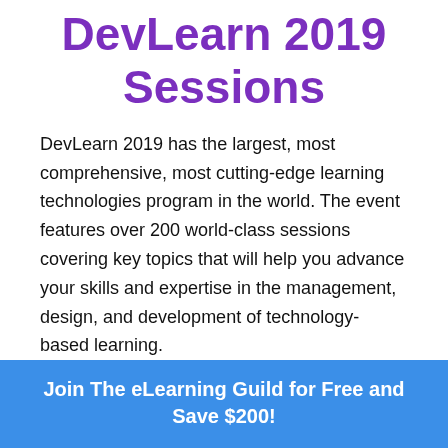DevLearn 2019 Sessions
DevLearn 2019 has the largest, most comprehensive, most cutting-edge learning technologies program in the world. The event features over 200 world-class sessions covering key topics that will help you advance your skills and expertise in the management, design, and development of technology-based learning.
[Figure (screenshot): Dark blue background UI screenshot with a purple triangle in the top-right corner and a close (X) button, showing partial circular graphic elements at the bottom.]
Join The eLearning Guild for Free and Save $200!